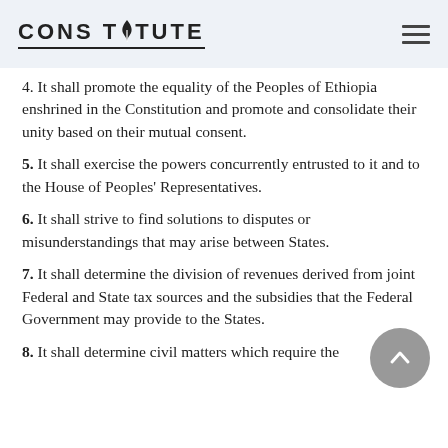CONSTITUTE
4. It shall promote the equality of the Peoples of Ethiopia enshrined in the Constitution and promote and consolidate their unity based on their mutual consent.
5. It shall exercise the powers concurrently entrusted to it and to the House of Peoples' Representatives.
6. It shall strive to find solutions to disputes or misunderstandings that may arise between States.
7. It shall determine the division of revenues derived from joint Federal and State tax sources and the subsidies that the Federal Government may provide to the States.
8. It shall determine civil matters which require the